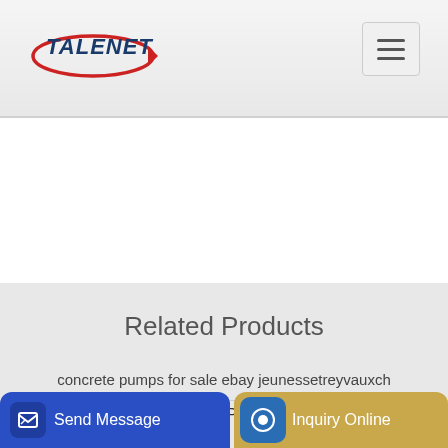[Figure (logo): Talenet company logo with red swoosh and dark blue bold italic text]
Related Products
concrete pumps for sale ebay jeunessetreyvauxch
Xcm 37m Concrete Pump Truck Hb37b
Send Message | Inquiry Online